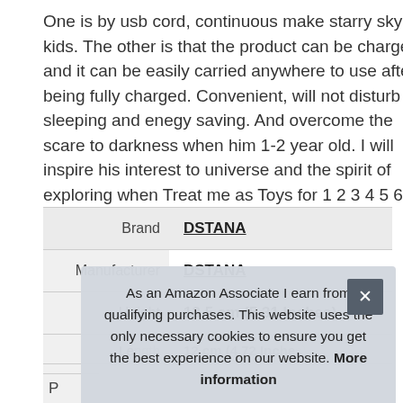One is by usb cord, continuous make starry sky for kids. The other is that the product can be charged, and it can be easily carried anywhere to use after being fully charged. Convenient, will not disturb sleeping and enegy saving. And overcome the scare to darkness when him 1-2 year old. I will inspire his interest to universe and the spirit of exploring when Treat me as Toys for 1 2 3 4 5 6 7 8 9 10 11 12 Year Old Boys.
|  |  |
| --- | --- |
| Brand | DSTANA |
| Manufacturer | DSTANA |
| Height | 13.5 cm (5.31 Inches) |
| Length | 12 cm (4.72 Inches) |
|  |  |
| P |  |
As an Amazon Associate I earn from qualifying purchases. This website uses the only necessary cookies to ensure you get the best experience on our website. More information